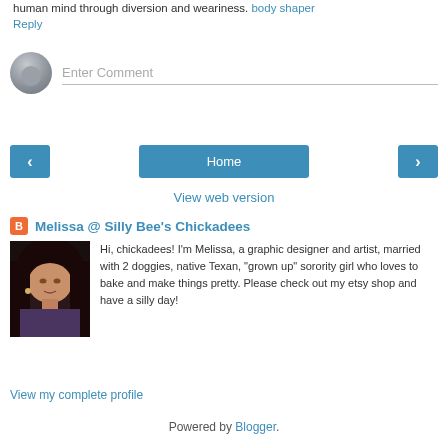human mind through diversion and weariness. body shaper
Reply
[Figure (other): Comment input field with anonymous user avatar placeholder and 'Enter Comment' text field]
[Figure (other): Navigation bar with left arrow button, Home button, and right arrow button]
View web version
[Figure (photo): Profile photo of Melissa, a woman with dark hair]
Melissa @ Silly Bee's Chickadees
Hi, chickadees! I'm Melissa, a graphic designer and artist, married with 2 doggies, native Texan, "grown up" sorority girl who loves to bake and make things pretty. Please check out my etsy shop and have a silly day!
View my complete profile
Powered by Blogger.